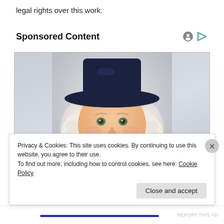legal rights over this work.
Sponsored Content
[Figure (illustration): Illustrated portrait of the Quaker Oats man — a smiling colonial-era gentleman with white curly hair wearing a dark navy wide-brimmed hat and dark jacket with white ruffled collar, against a light grey background.]
Privacy & Cookies: This site uses cookies. By continuing to use this website, you agree to their use.
To find out more, including how to control cookies, see here: Cookie Policy
Close and accept